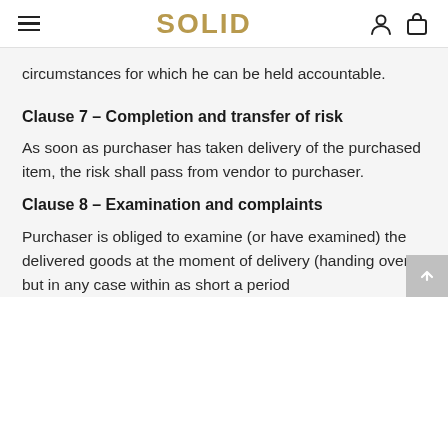SOLID
circumstances for which he can be held accountable.
Clause 7 – Completion and transfer of risk
As soon as purchaser has taken delivery of the purchased item, the risk shall pass from vendor to purchaser.
Clause 8 – Examination and complaints
Purchaser is obliged to examine (or have examined) the delivered goods at the moment of delivery (handing over), but in any case within as short a period